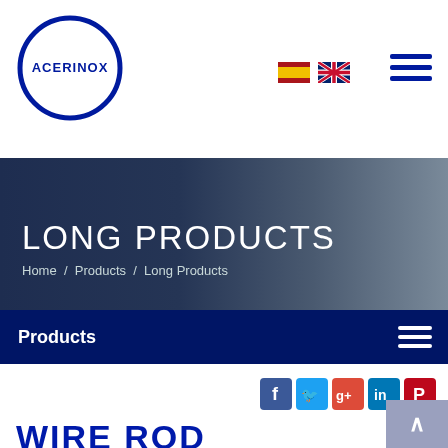[Figure (logo): Acerinox circular logo with blue ring and ACERINOX text]
[Figure (infographic): Spanish and UK flag icons and hamburger menu icon in header]
LONG PRODUCTS
Home / Products / Long Products
Products
[Figure (infographic): Social media icons: Facebook, Twitter, Google+, LinkedIn, Pinterest]
WIRE ROD
Hot rolled product, in coils or cut.
[Figure (photo): Wire rod product image showing coiled stainless steel wire]